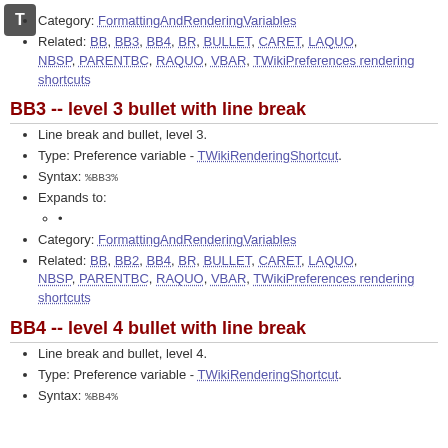[Figure (logo): T icon — grey square with white T letter]
Category: FormattingAndRenderingVariables
Related: BB, BB3, BB4, BR, BULLET, CARET, LAQUO, NBSP, PARENTBC, RAQUO, VBAR, TWikiPreferences rendering shortcuts
BB3 -- level 3 bullet with line break
Line break and bullet, level 3.
Type: Preference variable - TWikiRenderingShortcut.
Syntax: %BB3%
Expands to:
•
Category: FormattingAndRenderingVariables
Related: BB, BB2, BB4, BR, BULLET, CARET, LAQUO, NBSP, PARENTBC, RAQUO, VBAR, TWikiPreferences rendering shortcuts
BB4 -- level 4 bullet with line break
Line break and bullet, level 4.
Type: Preference variable - TWikiRenderingShortcut.
Syntax: %BB4%